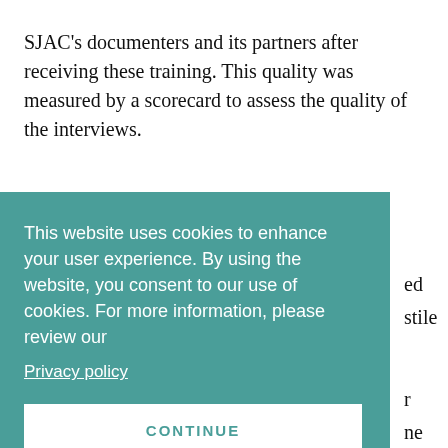SJAC's documenters and its partners after receiving these training. This quality was measured by a scorecard to assess the quality of the interviews.
SJAC applauds the dedicated activists who … ed … stile … r … ne … how y filename filename will be of to it
This website uses cookies to enhance your user experience. By using the website, you consent to our use of cookies. For more information, please review our Privacy policy CONTINUE